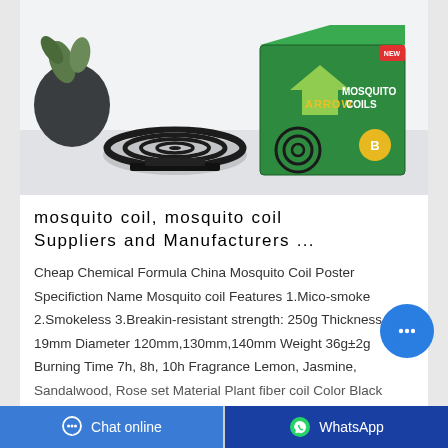[Figure (photo): Product photo of Arrow Mosquito Coils box (green packaging with coil imagery) alongside a black mosquito coil on a white surface, with a dark plant decoration in the background.]
mosquito coil, mosquito coil Suppliers and Manufacturers ...
Cheap Chemical Formula China Mosquito Coil Poster Specifiction Name Mosquito coil Features 1.Mico-smoke 2.Smokeless 3.Breakin-resistant strength: 250g Thickness 19mm Diameter 120mm,130mm,140mm Weight 36g±2g Burning Time 7h, 8h, 10h Fragrance Lemon, Jasmine, Sandalwood, Rose set Material Plant fiber coil Color Black
Chat online   WhatsApp